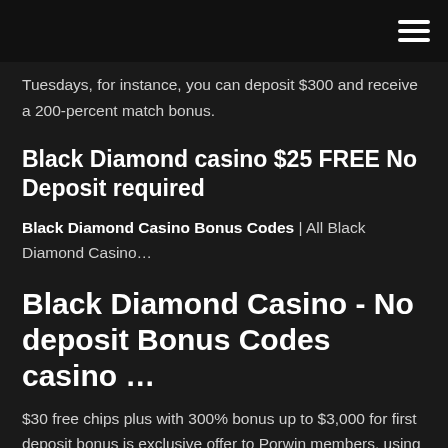Tuesdays, for instance, you can deposit $300 and receive a 200-percent match bonus.
Black Diamond casino $25 FREE No Deposit required
Black Diamond Casino Bonus Codes | All Black Diamond Casino…
Black Diamond Casino - No deposit Bonus Codes casino …
$30 free chips plus with 300% bonus up to $3,000 for first deposit bonus is exclusive offer to Porwin members, using bonus code BD30Porwin. NetBet Casino > No deposit Bonus Codes & Free Spins | May 2019 Sign up to get a pass to the